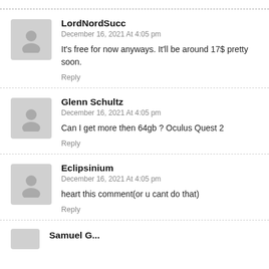LordNordSucc
December 16, 2021 At 4:05 pm
It's free for now anyways. It'll be around 17$ pretty soon.
Reply
Glenn Schultz
December 16, 2021 At 4:05 pm
Can I get more then 64gb ? Oculus Quest 2
Reply
Eclipsinium
December 16, 2021 At 4:05 pm
heart this comment(or u cant do that)
Reply
Samuel G...